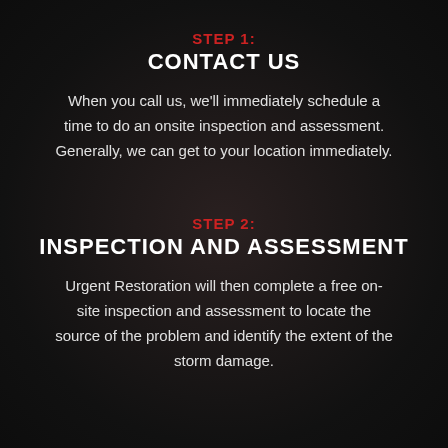STEP 1:
CONTACT US
When you call us, we'll immediately schedule a time to do an onsite inspection and assessment. Generally, we can get to your location immediately.
STEP 2:
INSPECTION AND ASSESSMENT
Urgent Restoration will then complete a free on-site inspection and assessment to locate the source of the problem and identify the extent of the storm damage.